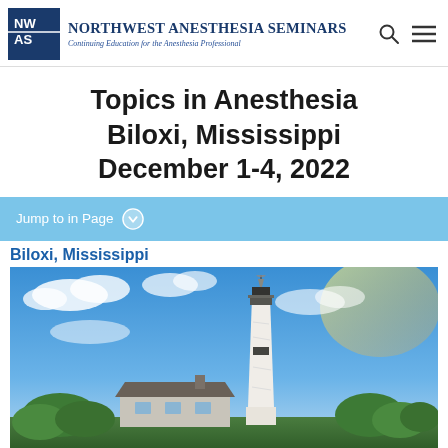Northwest Anesthesia Seminars — Continuing Education for the Anesthesia Professional
Topics in Anesthesia
Biloxi, Mississippi
December 1-4, 2022
Jump to in Page
Biloxi, Mississippi
[Figure (photo): Photograph of the Biloxi Lighthouse in Mississippi against a blue sky with white clouds. A white lighthouse tower with a weather vane at the top stands prominently, with a historic keeper's cottage and lush green trees at the base.]